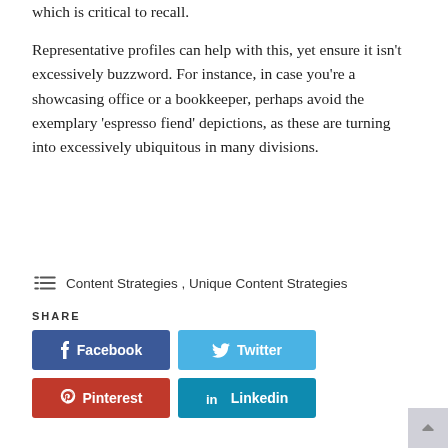which is critical to recall.
Representative profiles can help with this, yet ensure it isn't excessively buzzword. For instance, in case you're a showcasing office or a bookkeeper, perhaps avoid the exemplary 'espresso fiend' depictions, as these are turning into excessively ubiquitous in many divisions.
Content Strategies , Unique Content Strategies
SHARE
Facebook
Twitter
Pinterest
Linkedin